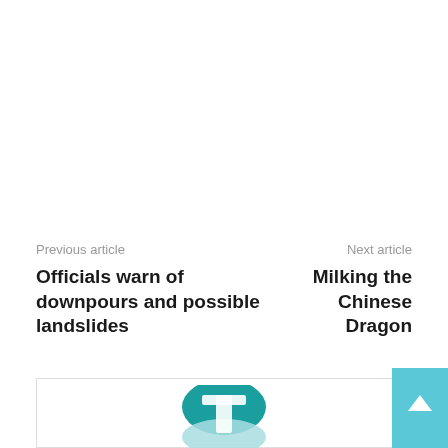Previous article
Officials warn of downpours and possible landslides
Next article
Milking the Chinese Dragon
[Figure (logo): Teal/mint colored logo icon resembling a stylized letter T or abstract shape]